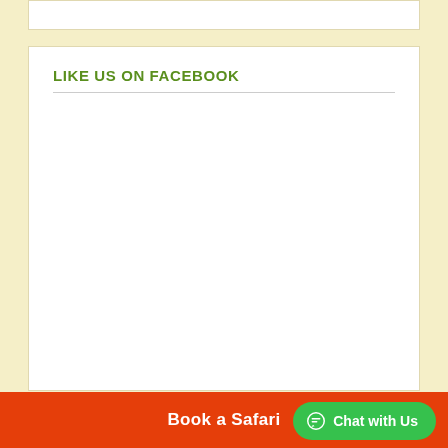LIKE US ON FACEBOOK
RWANDA TOURS
10 Days Uganda and Rwanda Combined Safari
[Figure (photo): A gorilla photographed in black and white, head and upper body visible.]
Book a Safari
Chat with Us